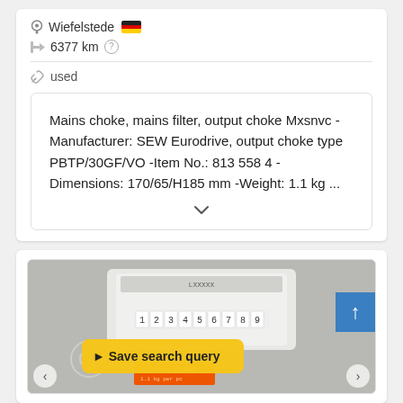Wiefelstede 🇩🇪
6377 km ?
used
Mains choke, mains filter, output choke Mxsnvc - Manufacturer: SEW Eurodrive, output choke type PBTP/30GF/VO -Item No.: 813 558 4 -Dimensions: 170/65/H185 mm -Weight: 1.1 kg ...
[Figure (photo): Photo of an industrial electrical component (output choke/mains filter device) with orange label showing 'DKS' and number 459, with numeric display showing digits 1-9 on top, overlaid with a yellow 'Save search query' button with arrow icon]